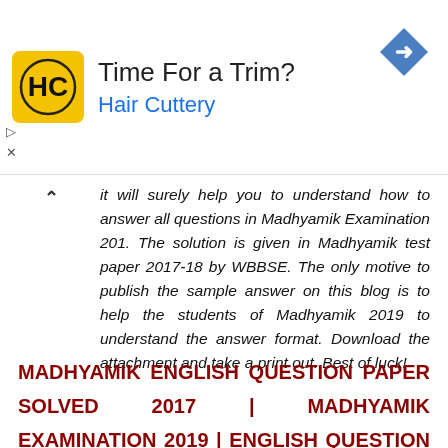[Figure (other): Advertisement banner for Hair Cuttery with HC logo, title 'Time For a Trim?', subtitle 'Hair Cuttery', and a navigation arrow icon on the right.]
it will surely help you to understand how to answer all questions in Madhyamik Examination 201. The solution is given in Madhyamik test paper 2017-18 by WBBSE. The only motive to publish the sample answer on this blog is to help the students of Madhyamik 2019 to understand the answer format. Download the attachment and take a print out. Best of luck!
MADHYAMIK ENGLISH QUESTION PAPER SOLVED 2017 | MADHYAMIK EXAMINATION 2019 | ENGLISH QUESTION AND ANSWER | ENGLISH COMPLETE SOLUTION | Madhyamik English Solved Question Paper 2017 | English Solution | Madhyamik English Solution | English Second Language Solved Question